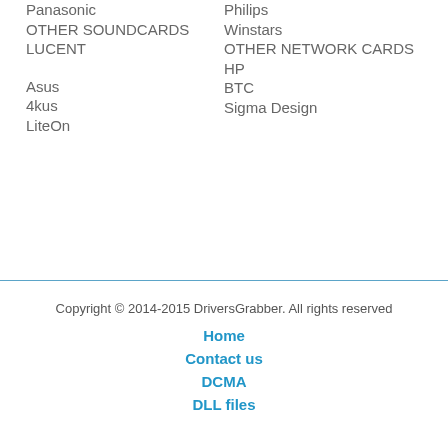Panasonic
Philips
OTHER SOUNDCARDS
Winstars
LUCENT
OTHER NETWORK CARDS
Asus
HP
4kus
BTC
LiteOn
Sigma Design
Copyright © 2014-2015 DriversGrabber. All rights reserved
Home
Contact us
DCMA
DLL files